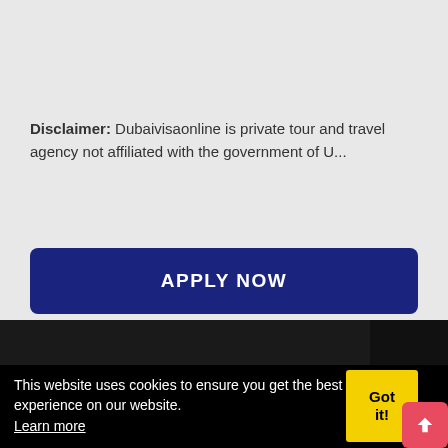Disclaimer: Dubaivisaonline is private tour and travel agency not affiliated with the government of U...
[Figure (other): Dark apply now button section with navy blue background reading APPLY NOW]
[Figure (screenshot): Dark image strip at the bottom of the gray section]
This website uses cookies to ensure you get the best experience on our website. Learn more